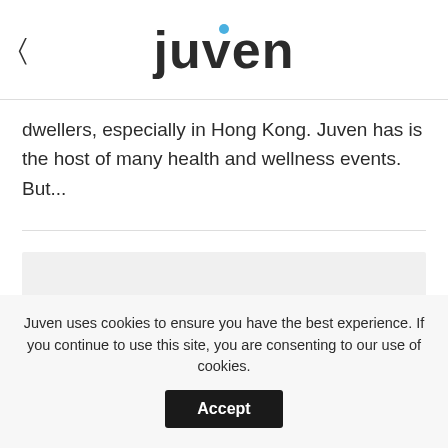juven
dwellers, especially in Hong Kong. Juven has is the host of many health and wellness events. But...
[Figure (other): Light grey rectangular image placeholder area]
Juven uses cookies to ensure you have the best experience. If you continue to use this site, you are consenting to our use of cookies. Accept